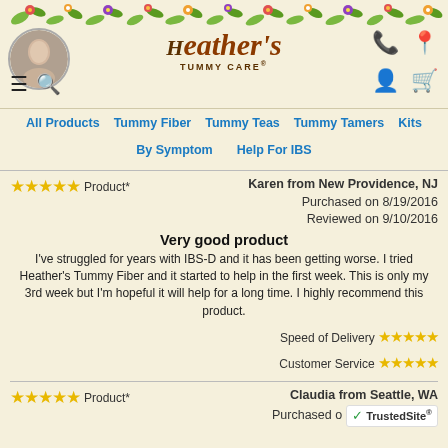[Figure (illustration): Floral decorative banner at top of page with colorful flowers and leaves]
[Figure (photo): Circular avatar photo of a woman]
[Figure (logo): Heather's Tummy Care logo with decorative script text]
All Products  Tummy Fiber  Tummy Teas  Tummy Tamers  Kits  By Symptom  Help For IBS
★★★★★ Product*  Karen from New Providence, NJ
Purchased on 8/19/2016
Reviewed on 9/10/2016
Very good product
I've struggled for years with IBS-D and it has been getting worse. I tried Heather's Tummy Fiber and it started to help in the first week. This is only my 3rd week but I'm hopeful it will help for a long time. I highly recommend this product.
Speed of Delivery ★★★★★
Customer Service ★★★★★
★★★★★ Product*  Claudia from Seattle, WA
Purchased on ...